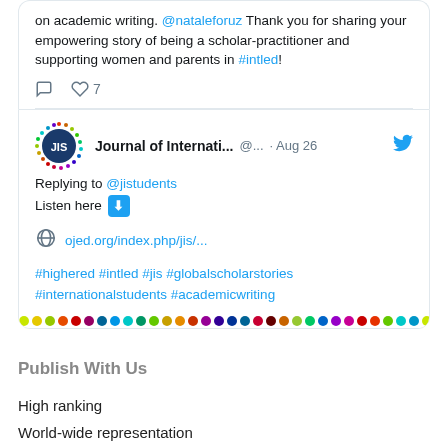[Figure (screenshot): Top portion of a tweet showing text about sharing empowering story of being a scholar-practitioner and supporting women and parents in #intled, with 7 likes.]
[Figure (screenshot): Tweet from Journal of Internati... (@...) on Aug 26, replying to @jistudents, saying Listen here with a down arrow emoji, linking to ojed.org/index.php/jis/..., with hashtags #highered #intled #jis #globalscholarstories #internationalstudents #academicwriting, with a colorful dots bar at the bottom.]
Publish With Us
High ranking
World-wide representation